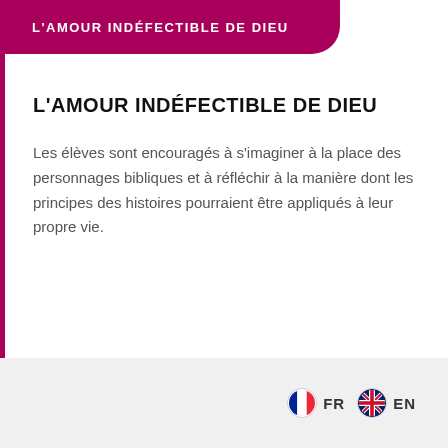L'AMOUR INDÉFECTIBLE DE DIEU
L'AMOUR INDÉFECTIBLE DE DIEU
Les élèves sont encouragés à s'imaginer à la place des personnages bibliques et à réfléchir à la manière dont les principes des histoires pourraient être appliqués à leur propre vie.
FR  EN